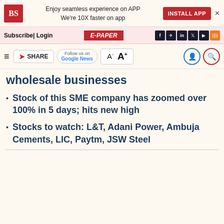BS | Enjoy seamless experience on APP We're 10X faster on app | INSTALL APP
Subscribe | Login | E-PAPER
Follow us on Google News | A- A+
wholesale businesses
Stock of this SME company has zoomed over 100% in 5 days; hits new high
Stocks to watch: L&T, Adani Power, Ambuja Cements, LIC, Paytm, JSW Steel